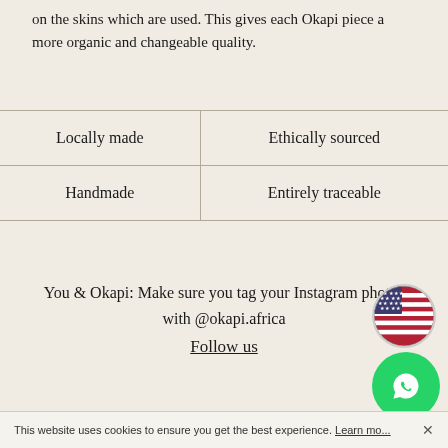on the skins which are used. This gives each Okapi piece a more organic and changeable quality.
| Locally made | Ethically sourced |
| Handmade | Entirely traceable |
You & Okapi: Make sure you tag your Instagram photos with @okapi.africa
Follow us
[Figure (illustration): US flag circle widget (country selector)]
[Figure (illustration): WhatsApp green circle button with phone handset icon]
This website uses cookies to ensure you get the best experience. Learn more ×